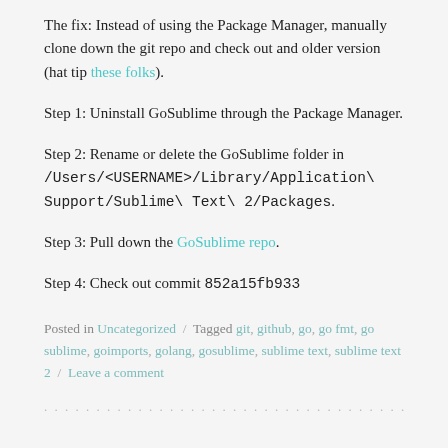The fix: Instead of using the Package Manager, manually clone down the git repo and check out and older version (hat tip these folks).
Step 1: Uninstall GoSublime through the Package Manager.
Step 2: Rename or delete the GoSublime folder in /Users/<USERNAME>/Library/Application\ Support/Sublime\ Text\ 2/Packages.
Step 3: Pull down the GoSublime repo.
Step 4: Check out commit 852a15fb933
Posted in Uncategorized / Tagged git, github, go, go fmt, go sublime, goimports, golang, gosublime, sublime text, sublime text 2 / Leave a comment
.....................................................................................